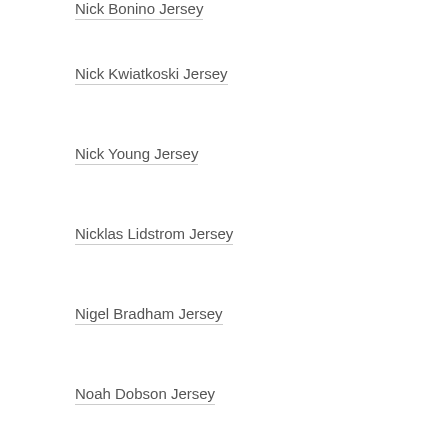Nick Bonino Jersey
Nick Kwiatkoski Jersey
Nick Young Jersey
Nicklas Lidstrom Jersey
Nigel Bradham Jersey
Noah Dobson Jersey
Ondrej Palat Jersey
Orlando Cepeda Jersey
Oscar Fantenberg Jersey
Pablo Sandoval Jersey
Pascal Siakam Jersey
Patrick McCaw Jersey
Pavel Bure Jersey
Phil Dawson Jersey